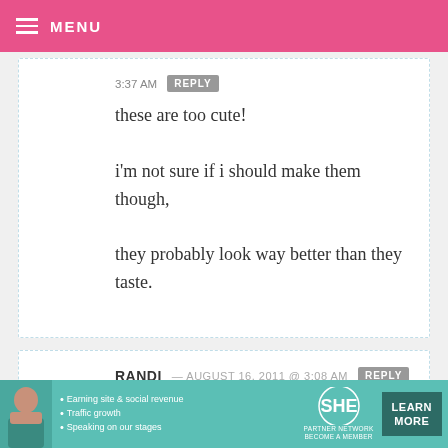MENU
3:37 AM
these are too cute!
i'm not sure if i should make them though,
they probably look way better than they taste.
RANDI — AUGUST 16, 2011 @ 3:08 AM
I am blown away each time I receive an e-mail from you. Everything you create
[Figure (infographic): SHE Partner Network advertisement banner with photo of woman, bullet points about earning site & social revenue, traffic growth, speaking on stages, and a Learn More button]